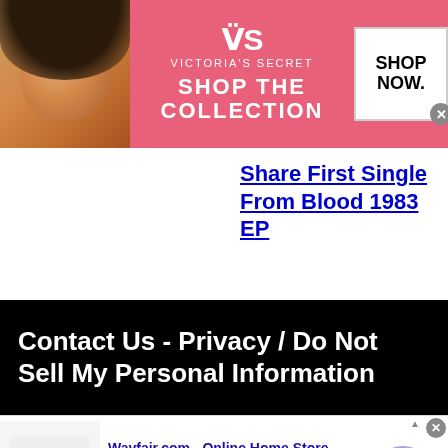[Figure (other): Victoria's Secret advertisement banner with model photo, VS logo, 'SHOP THE COLLECTION' text, and 'SHOP NOW' button]
Share First Single From Blood 1983 EP
Contact Us - Privacy / Do Not Sell My Personal Information
[Figure (other): Wayfair.com advertisement - Online Home Store Sale! Shop for A Zillion Things Home across all styles at Wayfair! www.wayfair.com]